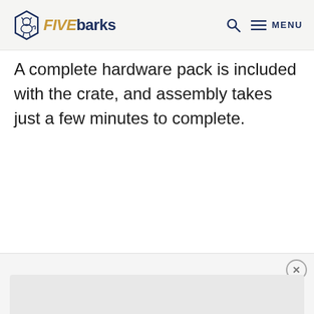FIVEbarks — MENU
A complete hardware pack is included with the crate, and assembly takes just a few minutes to complete.